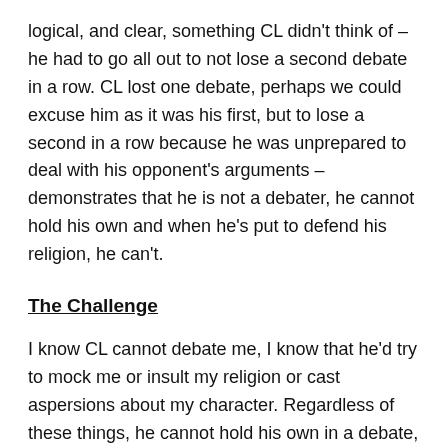logical, and clear, something CL didn't think of – he had to go all out to not lose a second debate in a row. CL lost one debate, perhaps we could excuse him as it was his first, but to lose a second in a row because he was unprepared to deal with his opponent's arguments – demonstrates that he is not a debater, he cannot hold his own and when he's put to defend his religion, he can't.
The Challenge
I know CL cannot debate me, I know that he'd try to mock me or insult my religion or cast aspersions about my character. Regardless of these things, he cannot hold his own in a debate, so here I am, challenging CL to debate me, let's debate the topic Bob failed to impress on, "Is the NT Reliable"? Can you defend your religion against a person who's not only significantly younger